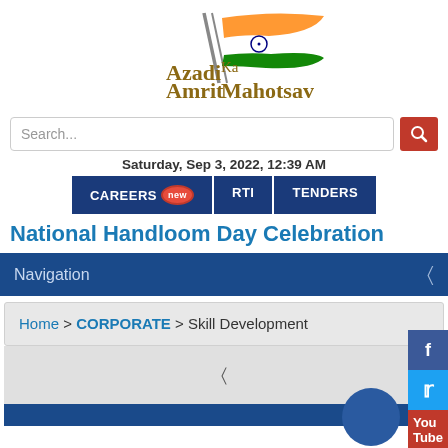[Figure (logo): Azadi Ka Amrit Mahotsav logo with Indian flag and golden text]
Search...
Saturday, Sep 3, 2022, 12:39 AM
CAREERS new
RTI
TENDERS
National Handloom Day Celebration
Navigation
Home > CORPORATE > Skill Development